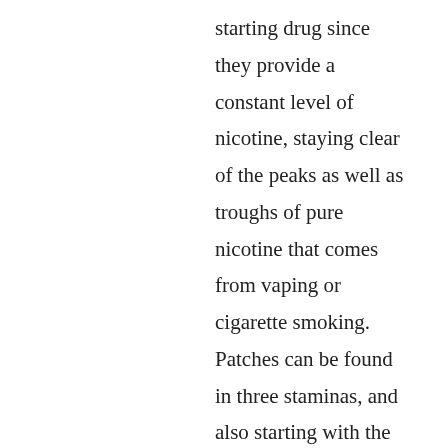starting drug since they provide a constant level of nicotine, staying clear of the peaks as well as troughs of pure nicotine that comes from vaping or cigarette smoking. Patches can be found in three staminas, and also starting with the lowest dosage that reduces withdrawal signs and symptoms is recommended. People that have been vaping may have been exposed to greater pure nicotine doses than standard cigarette smokers, and so high dosages of pure nicotine replacement may be required. Patches can be incorporated with a 2nd type of pure nicotine substitute, such as gum or lozenges, to be utilized as essential to